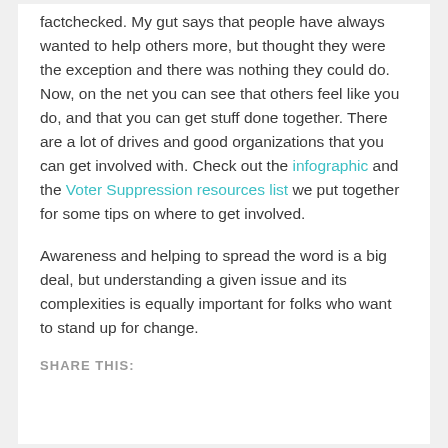factchecked. My gut says that people have always wanted to help others more, but thought they were the exception and there was nothing they could do. Now, on the net you can see that others feel like you do, and that you can get stuff done together. There are a lot of drives and good organizations that you can get involved with. Check out the infographic and the Voter Suppression resources list we put together for some tips on where to get involved.
Awareness and helping to spread the word is a big deal, but understanding a given issue and its complexities is equally important for folks who want to stand up for change.
SHARE THIS: